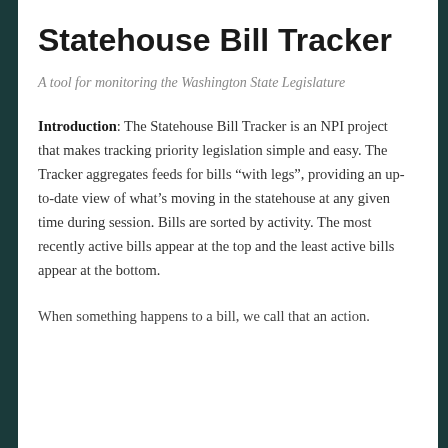Statehouse Bill Tracker
A tool for monitoring the Washington State Legislature
Introduction: The Statehouse Bill Tracker is an NPI project that makes tracking priority legislation simple and easy. The Tracker aggregates feeds for bills “with legs”, providing an up-to-date view of what’s moving in the statehouse at any given time during session. Bills are sorted by activity. The most recently active bills appear at the top and the least active bills appear at the bottom.
When something happens to a bill, we call that an action.